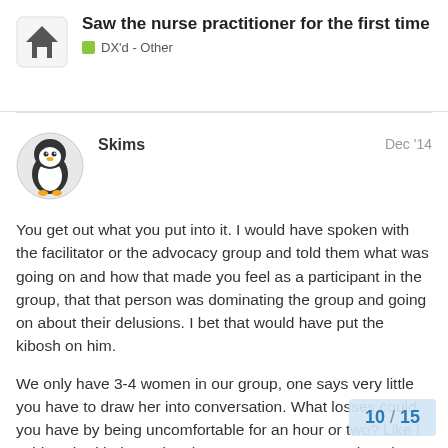Saw the nurse practitioner for the first time | DX'd - Other
Skims — Dec '14
You get out what you put into it. I would have spoken with the facilitator or the advocacy group and told them what was going on and how that made you feel as a participant in the group, that that person was dominating the group and going on about their delusions. I bet that would have put the kibosh on him.
We only have 3-4 women in our group, one says very little you have to draw her into conversation. What losses could you have by being uncomfortable for an hour or two? Like I said we had help putting the women's group together, there is no way I could have done it myself.
It gets easier over time as you get to know people in the different groups. And you say that you only people with MI, but from what you said the
10 / 15